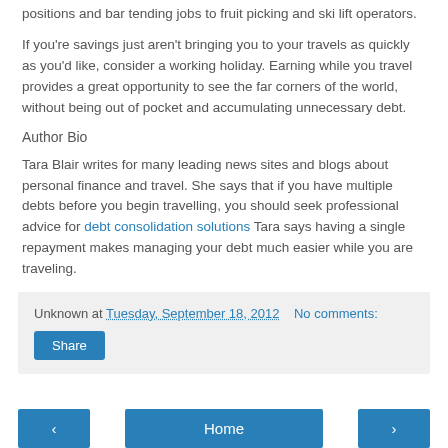positions and bar tending jobs to fruit picking and ski lift operators.
If you're savings just aren't bringing you to your travels as quickly as you'd like, consider a working holiday. Earning while you travel provides a great opportunity to see the far corners of the world, without being out of pocket and accumulating unnecessary debt.
Author Bio
Tara Blair writes for many leading news sites and blogs about personal finance and travel. She says that if you have multiple debts before you begin travelling, you should seek professional advice for debt consolidation solutions Tara says having a single repayment makes managing your debt much easier while you are traveling.
Unknown at Tuesday, September 18, 2012  No comments:
Share
‹  Home  ›